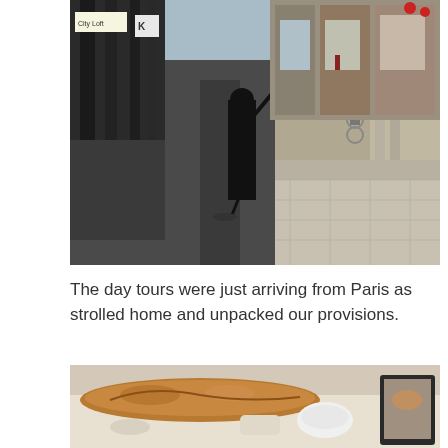[Figure (photo): Street scene showing a person in dark clothing sweeping a sidewalk on a European street, with shops, buildings, a cyclist, and pedestrians visible in the background. Signs including 'City Loft' and 'K' are visible on storefronts.]
The day tours were just arriving from Paris as strolled home and unpacked our provisions.
[Figure (photo): Close-up photo of food provisions on a table, including what appears to be a baguette or bread, white cups or dishes, and other items. A framed photo or device is visible on the right side.]